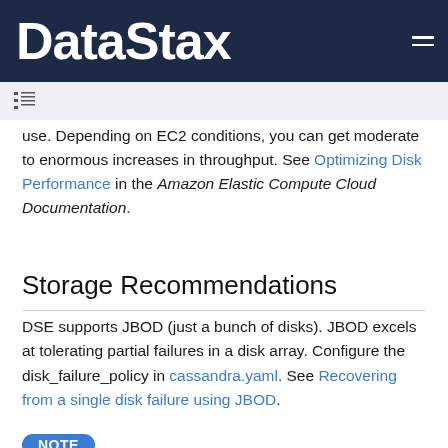DataStax
use. Depending on EC2 conditions, you can get moderate to enormous increases in throughput. See Optimizing Disk Performance in the Amazon Elastic Compute Cloud Documentation.
Storage Recommendations
DSE supports JBOD (just a bunch of disks). JBOD excels at tolerating partial failures in a disk array. Configure the disk_failure_policy in cassandra.yaml. See Recovering from a single disk failure using JBOD.
NOTE